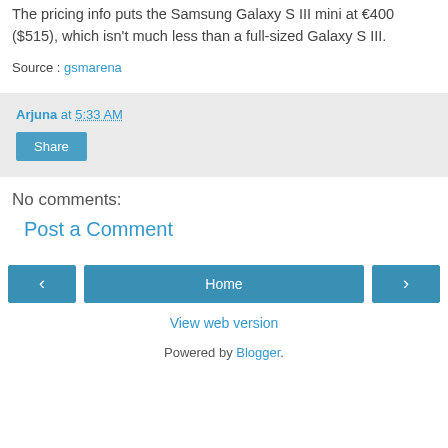The pricing info puts the Samsung Galaxy S III mini at €400 ($515), which isn't much less than a full-sized Galaxy S III.
Source : gsmarena
Arjuna at 5:33 AM
Share
No comments:
Post a Comment
Home
View web version
Powered by Blogger.